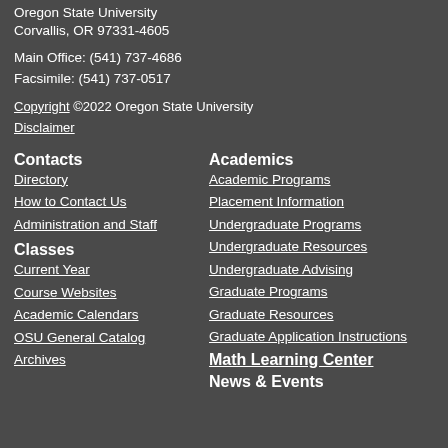Oregon State University
Corvallis, OR 97331-4605
Main Office: (541) 737-4686
Facsimile: (541) 737-0517
Copyright ©2022 Oregon State University
Disclaimer
Contacts
Directory
How to Contact Us
Administration and Staff
Classes
Current Year
Course Websites
Academic Calendars
OSU General Catalog
Archives
Academics
Academic Programs
Placement Information
Undergraduate Programs
Undergraduate Resources
Undergraduate Advising
Graduate Programs
Graduate Resources
Graduate Application Instructions
Math Learning Center
News & Events